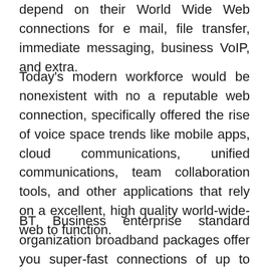depend on their World Wide Web connections for e mail, file transfer, immediate messaging, business VoIP, and extra.
Today's modern workforce would be nonexistent with no a reputable web connection, specifically offered the rise of voice space trends like mobile apps, cloud communications, unified communications, team collaboration tools, and other applications that rely on a excellent, high quality world-wide-web to function.
BT Business enterprise standard organization broadband packages offer you super-fast connections of up to 17Mbps and a trustworthy service that will not let you down